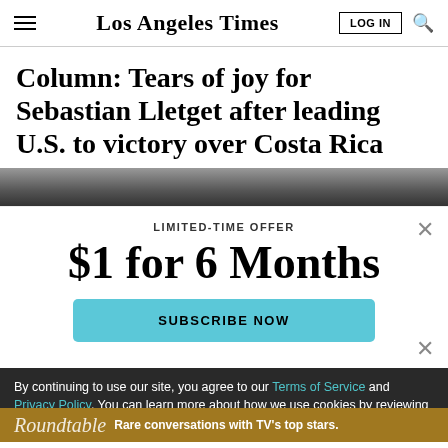Los Angeles Times
Column: Tears of joy for Sebastian Lletget after leading U.S. to victory over Costa Rica
[Figure (photo): Partial photo strip of crowd/spectators at a sporting event]
LIMITED-TIME OFFER
$1 for 6 Months
SUBSCRIBE NOW
By continuing to use our site, you agree to our Terms of Service and Privacy Policy. You can learn more about how we use cookies by reviewing our Privacy Policy. Close